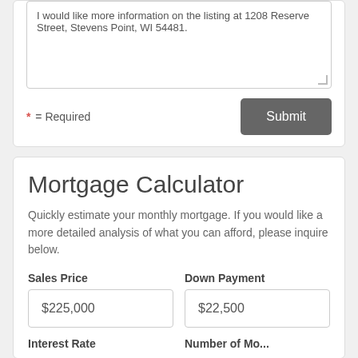I would like more information on the listing at 1208 Reserve Street, Stevens Point, WI 54481.
* = Required
Submit
Mortgage Calculator
Quickly estimate your monthly mortgage. If you would like a more detailed analysis of what you can afford, please inquire below.
Sales Price
Down Payment
$225,000
$22,500
Interest Rate
Number of Mo...